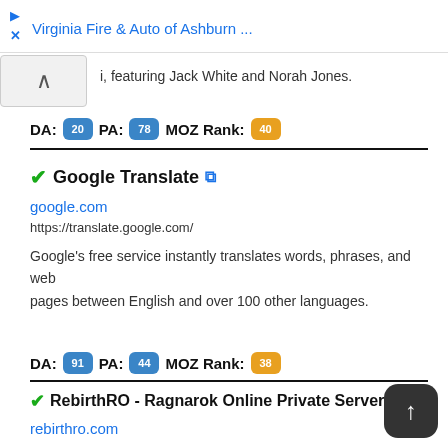Virginia Fire & Auto of Ashburn ...
i, featuring Jack White and Norah Jones.
DA: 20 PA: 78 MOZ Rank: 40
Google Translate
google.com
https://translate.google.com/
Google's free service instantly translates words, phrases, and web pages between English and over 100 other languages.
DA: 91 PA: 44 MOZ Rank: 38
RebirthRO - Ragnarok Online Private Server
rebirthro.com
http://rebirthro.com/
Apr 01, 2022 · Korean comic fans acknowledged free RO online game one of the best free MMORPG for a reason. Your favori anime characters, drawn by hand, fit the realistic 3D-landsca perfectly. Enchanting music creates a special atmosphere in the